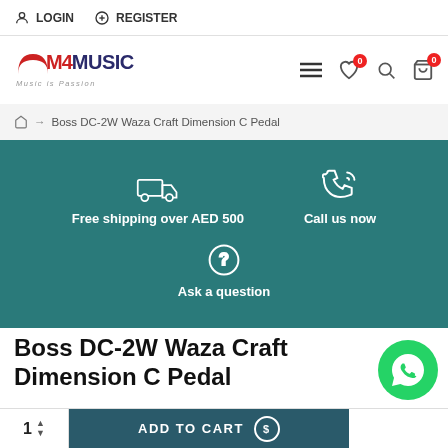LOGIN   REGISTER
[Figure (logo): M4MUSIC logo with tagline Music is Passion]
Boss DC-2W Waza Craft Dimension C Pedal (breadcrumb)
[Figure (infographic): Teal banner with Free shipping over AED 500, Call us now, Ask a question]
Boss DC-2W Waza Craft Dimension C Pedal
[Figure (other): WhatsApp contact button (green circle)]
CHECK
1  ADD TO CART